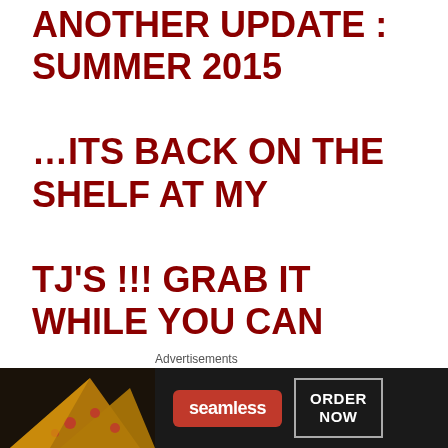ANOTHER UPDATE : SUMMER 2015 …ITS BACK ON THE SHELF AT MY TJ'S !!! GRAB IT WHILE YOU CAN ?! ONE READER REPORTS ITS SEASONAL FOR SUMMER ONLY (grilling)
[Figure (other): Seamless food delivery advertisement banner showing pizza slices on dark background with Seamless logo and ORDER NOW button]